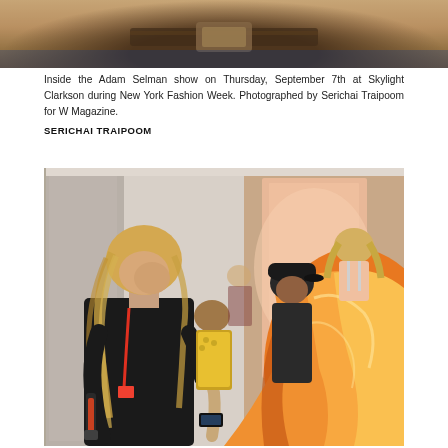[Figure (photo): Partial view of a person wearing denim at top of page, cropped]
Inside the Adam Selman show on Thursday, September 7th at Skylight Clarkson during New York Fashion Week. Photographed by Serichai Traipoom for W Magazine.
SERICHAI TRAIPOOM
[Figure (photo): Behind-the-scenes photo at Adam Selman fashion show. A blonde woman in black uses a curling iron while looking at her phone. In the background, people including a man in a dark cap and a model wearing an orange satin garment are visible in a white-walled venue.]